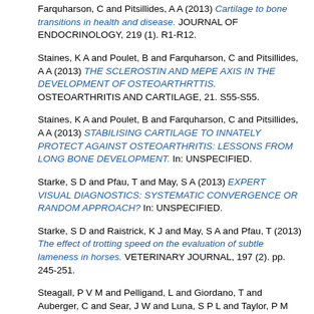Farquharson, C and Pitsillides, A A (2013) Cartilage to bone transitions in health and disease. JOURNAL OF ENDOCRINOLOGY, 219 (1). R1-R12.
Staines, K A and Poulet, B and Farquharson, C and Pitsillides, A A (2013) THE SCLEROSTIN AND MEPE AXIS IN THE DEVELOPMENT OF OSTEOARTHRTTIS. OSTEOARTHRITIS AND CARTILAGE, 21. S55-S55.
Staines, K A and Poulet, B and Farquharson, C and Pitsillides, A A (2013) STABILISING CARTILAGE TO INNATELY PROTECT AGAINST OSTEOARTHRITIS: LESSONS FROM LONG BONE DEVELOPMENT. In: UNSPECIFIED.
Starke, S D and Pfau, T and May, S A (2013) EXPERT VISUAL DIAGNOSTICS: SYSTEMATIC CONVERGENCE OR RANDOM APPROACH? In: UNSPECIFIED.
Starke, S D and Raistrick, K J and May, S A and Pfau, T (2013) The effect of trotting speed on the evaluation of subtle lameness in horses. VETERINARY JOURNAL, 197 (2). pp. 245-251.
Steagall, P V M and Pelligand, L and Giordano, T and Auberger, C and Sear, J W and Luna, S P L and Taylor, P M (2013) Pharmacokinetic and pharmacodynamic modelling of